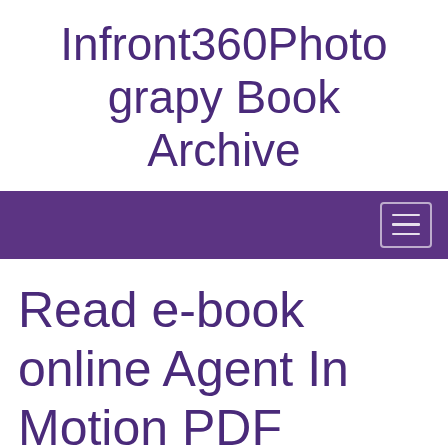Infront360Photography Book Archive
[Figure (screenshot): Purple navigation bar with hamburger menu icon on the right]
Read e-book online Agent In Motion PDF